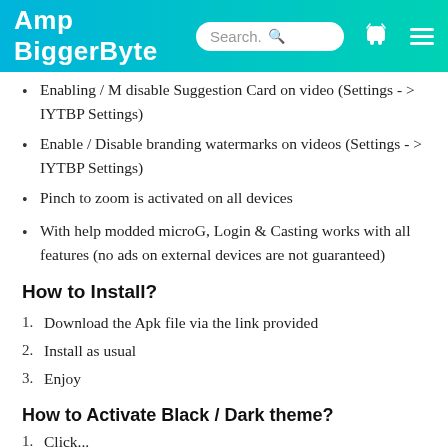Amp BiggerByte
Enabling / M disable Suggestion Card on video (Settings - > IYTBP Settings)
Enable / Disable branding watermarks on videos (Settings - > IYTBP Settings)
Pinch to zoom is activated on all devices
With help modded microG, Login & Casting works with all features (no ads on external devices are not guaranteed)
How to Install?
Download the Apk file via the link provided
Install as usual
Enjoy
How to Activate Black / Dark theme?
Click...